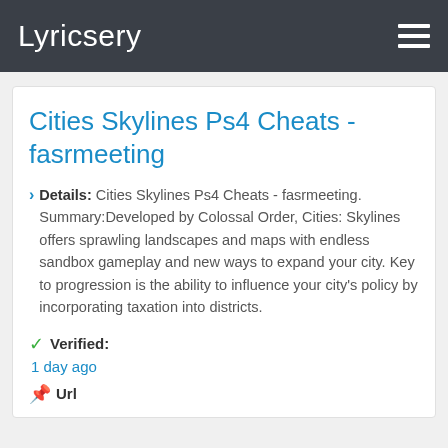Lyricsery
Cities Skylines Ps4 Cheats - fasrmeeting
Details: Cities Skylines Ps4 Cheats - fasrmeeting. Summary:Developed by Colossal Order, Cities: Skylines offers sprawling landscapes and maps with endless sandbox gameplay and new ways to expand your city. Key to progression is the ability to influence your city's policy by incorporating taxation into districts.
Verified: 1 day ago
Url